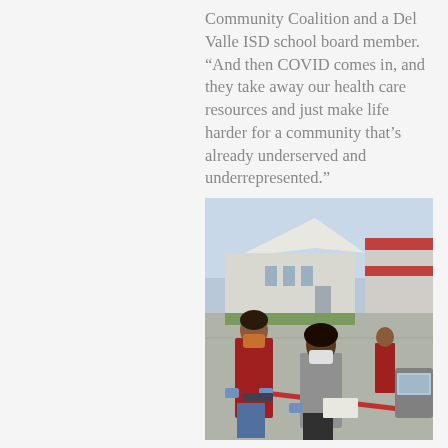Community Coalition and a Del Valle ISD school board member. “And then COVID comes in, and they take away our health care resources and just make life harder for a community that’s already underserved and underrepresented.”
[Figure (photo): Two masked women in a school parking lot handing out materials to a car window; a school building is visible in the background and another person can be seen further back also assisting a car.]